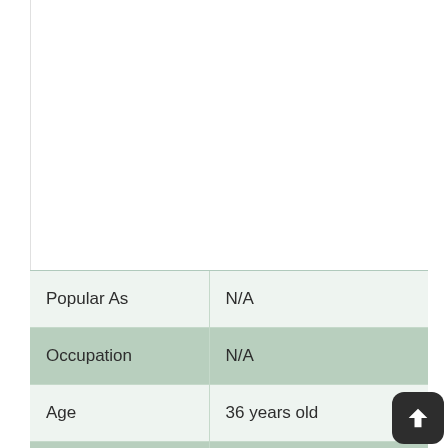| Popular As | N/A |
| Occupation | N/A |
| Age | 36 years old |
| Zodiac Sign | Gemini |